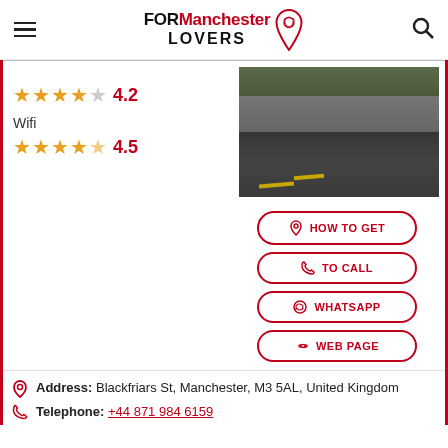FOR Manchester LOVERS
[Figure (photo): Road/street photo showing asphalt and a concrete wall]
4.2
Wifi
4.5
HOW TO GET
TO CALL
WHATSAPP
WEB PAGE
Address: Blackfriars St, Manchester, M3 5AL, United Kingdom
Telephone: +44 871 984 6159